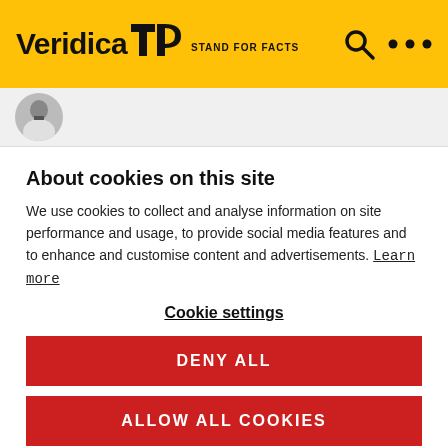Veridica STAND FOR FACTS
[Figure (photo): Author avatar - partial circular photo of a person in white clothing]
About cookies on this site
We use cookies to collect and analyse information on site performance and usage, to provide social media features and to enhance and customise content and advertisements. Learn more
Cookie settings
DENY ALL
ALLOW ALL COOKIES